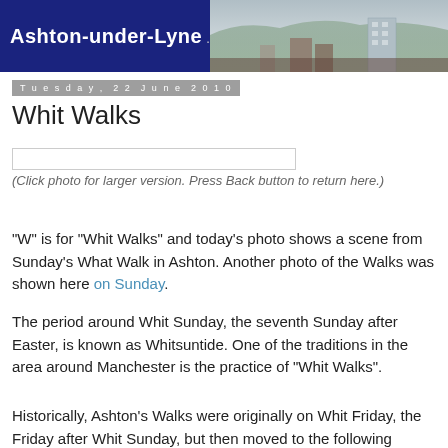Ashton-under-Lyne .com
Tuesday, 22 June 2010
Whit Walks
[Figure (photo): Empty photo placeholder box for click-to-enlarge photo]
(Click photo for larger version. Press Back button to return here.)
"W" is for "Whit Walks" and today's photo shows a scene from Sunday's What Walk in Ashton. Another photo of the Walks was shown here on Sunday.
The period around Whit Sunday, the seventh Sunday after Easter, is known as Whitsuntide. One of the traditions in the area around Manchester is the practice of "Whit Walks".
Historically, Ashton's Walks were originally on Whit Friday, the Friday after Whit Sunday, but then moved to the following